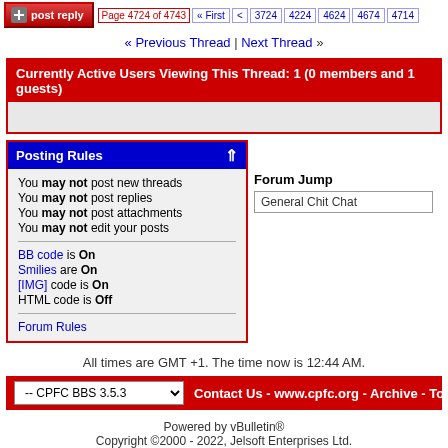Page 4724 of 4743  « First  <  3724  4224  4624  4674  4714
« Previous Thread | Next Thread »
Currently Active Users Viewing This Thread: 1 (0 members and 1 guests)
Posting Rules
You may not post new threads
You may not post replies
You may not post attachments
You may not edit your posts
BB code is On
Smilies are On
[IMG] code is On
HTML code is Off
Forum Rules
Forum Jump
General Chit Chat
All times are GMT +1. The time now is 12:44 AM.
-- CPFC BBS 3.5.3   Contact Us - www.cpfc.org - Archive - Top
Powered by vBulletin®
Copyright ©2000 - 2022, Jelsoft Enterprises Ltd.